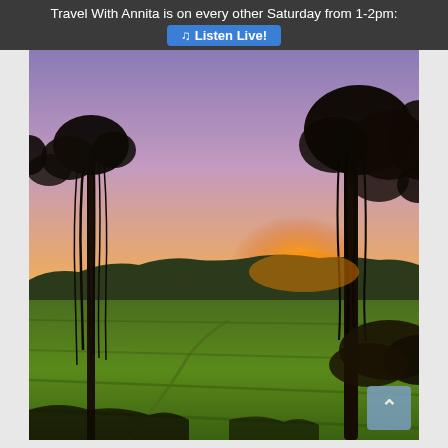Travel With Annita is on every other Saturday from 1-2pm: ♫ Listen Live!
[Figure (photo): A scenic sunset photo showing a green marsh or rice field in the foreground, silhouetted trees draped with Spanish moss on both sides, and a vibrant orange, yellow, and purple sky with the sun setting on the horizon.]